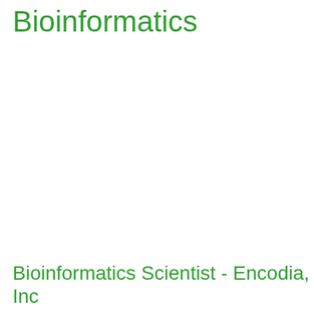Bioinformatics
Bioinformatics Scientist - Encodia, Inc